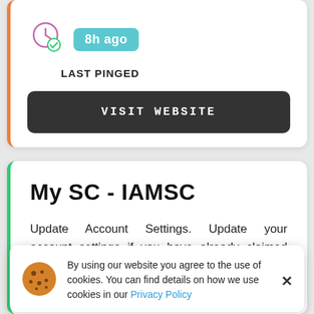[Figure (screenshot): Clock icon with pink/purple color and a checkmark, indicating last pinged time]
8h ago
LAST PINGED
VISIT WEBSITE
My SC - IAMSC
Update Account Settings. Update your account settings if you have already claimed your account. Users may update their email
By using our website you agree to the use of cookies. You can find details on how we use cookies in our Privacy Policy